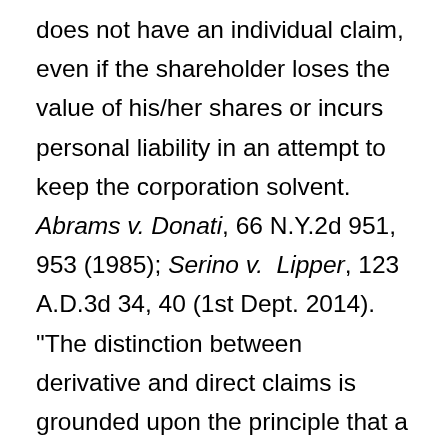does not have an individual claim, even if the shareholder loses the value of his/her shares or incurs personal liability in an attempt to keep the corporation solvent. Abrams v. Donati, 66 N.Y.2d 951, 953 (1985); Serino v. Lipper, 123 A.D.3d 34, 40 (1st Dept. 2014). "The distinction between derivative and direct claims is grounded upon the principle that a stockholder does not have an individual cause of action that derives from harm done to the corporation but may bring a direct claim when the wrongdoer has breached a duty owed directly to the shareholder which is independent of any duty owing to the corporation." Accredited Aides Plus, Inc. v. Program Risk Mgmt., Inc., 147 A.D.3d 122, 132 (3d Dept. 2017) (citation and internal quotation marks